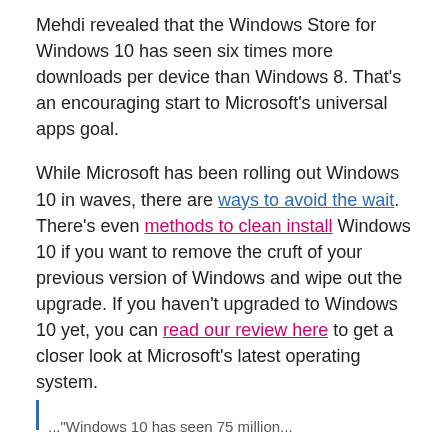Mehdi revealed that the Windows Store for Windows 10 has seen six times more downloads per device than Windows 8. That's an encouraging start to Microsoft's universal apps goal.
While Microsoft has been rolling out Windows 10 in waves, there are ways to avoid the wait. There's even methods to clean install Windows 10 if you want to remove the cruft of your previous version of Windows and wipe out the upgrade. If you haven't upgraded to Windows 10 yet, you can read our review here to get a closer look at Microsoft's latest operating system.
..."Windows 10 has seen 75 million..."